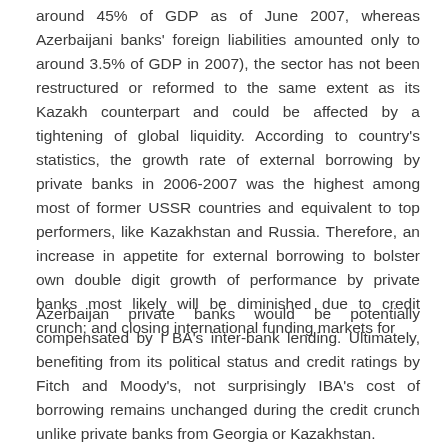around 45% of GDP as of June 2007, whereas Azerbaijani banks' foreign liabilities amounted only to around 3.5% of GDP in 2007), the sector has not been restructured or reformed to the same extent as its Kazakh counterpart and could be affected by a tightening of global liquidity. According to country's statistics, the growth rate of external borrowing by private banks in 2006-2007 was the highest among most of former USSR countries and equivalent to top performers, like Kazakhstan and Russia. Therefore, an increase in appetite for external borrowing to bolster own double digit growth of performance by private banks most likely will be diminished due to credit crunch; and closing international funding markets for
Azerbaijan private banks would be potentially compensated by I BA's inter-bank lending. Ultimately, benefiting from its political status and credit ratings by Fitch and Moody's, not surprisingly IBA's cost of borrowing remains unchanged during the credit crunch unlike private banks from Georgia or Kazakhstan.